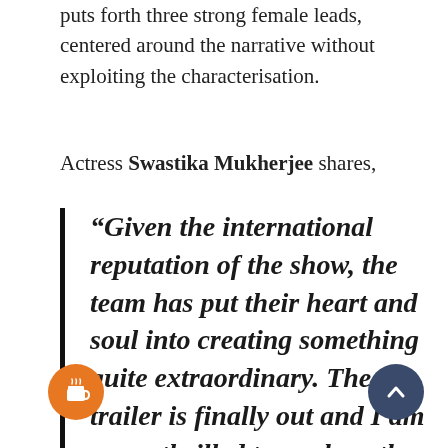puts forth three strong female leads, centered around the narrative without exploiting the characterisation.
Actress Swastika Mukherjee shares,
“Given the international reputation of the show, the team has put their heart and soul into creating something quite extraordinary. The trailer is finally out and I am super thrilled to see how the audience will respond to it.